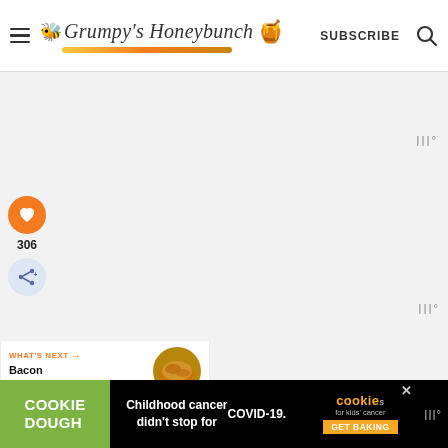Grumpy's Honeybunch — SUBSCRIBE
[Figure (screenshot): Large white/light gray advertisement or content area placeholder]
[Figure (infographic): Orange heart/like button with count 306 and share button]
306
WHAT'S NEXT → Bacon Wrapped...
MORE POTATO
[Figure (infographic): Cookie Dough advertisement banner: 'Childhood cancer didn't stop for COVID-19. GET BAKING']